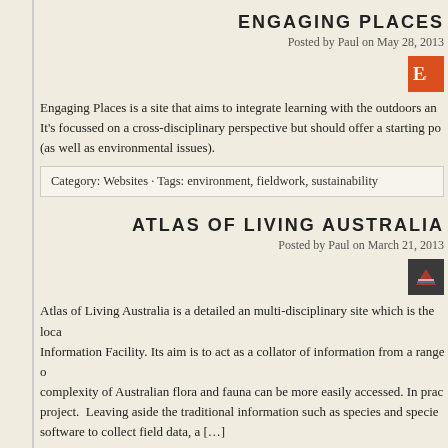ENGAGING PLACES
Posted by Paul on May 28, 2013
[Figure (logo): Orange square logo with letter E and partial text for Engaging Places]
Engaging Places is a site that aims to integrate learning with the outdoors an... It's focussed on a cross-disciplinary perspective but should offer a starting po... (as well as environmental issues).
Category: Websites · Tags: environment, fieldwork, sustainability
ATLAS OF LIVING AUSTRALIA
Posted by Paul on March 21, 2013
[Figure (logo): Dark square logo with bird/atlas icon for Atlas of Living Australia]
Atlas of Living Australia is a detailed an multi-disciplinary site which is the loca... Information Facility. Its aim is to act as a collator of information from a range o... complexity of Australian flora and fauna can be more easily accessed. In prac... project.  Leaving aside the traditional information such as species and specie... software to collect field data, a [...]
Category: Websites · Tags: atlas, Australia, biodiversity, data, fieldwork, mapping...